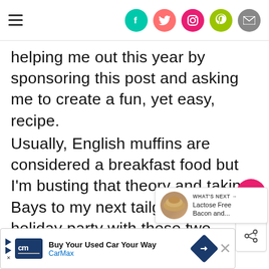[hamburger menu] [social icons: facebook, twitter, instagram, pinterest, email]
helping me out this year by sponsoring this post and asking me to create a fun, yet easy, recipe.
Usually, English muffins are considered a breakfast food but I'm busting that theory and taking Bays to my next tailgate or holiday party with these two great recipes: fig, bacon and goat cheese appetizers and a stunning, anyone can make antipasti board.
[Figure (other): Floating action bar with heart/like button showing 244 and a share button]
[Figure (other): What's Next overlay showing a thumbnail image with text: WHAT'S NEXT → Lactose Free Bacon and...]
[Figure (other): CarMax advertisement banner: Buy Your Used Car Your Way - CarMax, with logo and arrow icon, and a close X button]